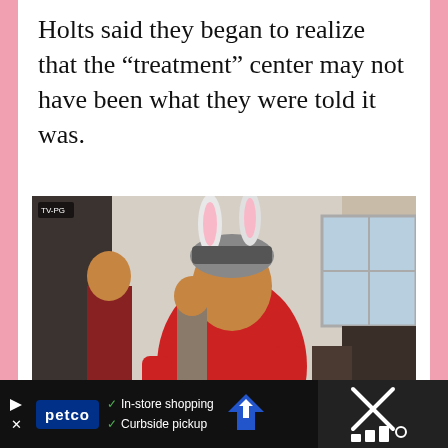Holts said they began to realize that the “treatment” center may not have been what they were told it was.
[Figure (photo): A man wearing a bunny ear hat and a red polo shirt giving two thumbs up inside a room. Another person stands in the background. A window is visible on the right. TLC logo shown bottom right. TV-PG rating shown top left.]
“I need all my spawnlets to be there to celebrate me!”
[Figure (other): Advertisement bar: Petco ad with checkmarks for In-store shopping and Curbside pickup, navigation arrow icon, and a dark panel on the right with an X icon.]